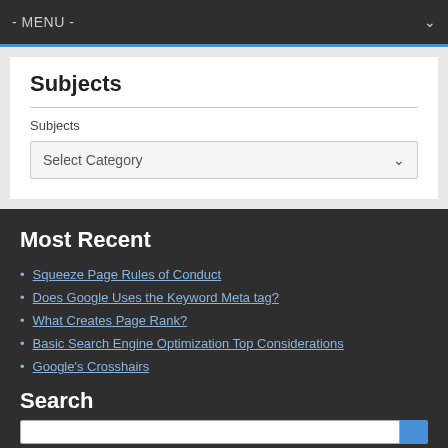- MENU -
Subjects
Subjects
Select Category
Most Recent
Squeeze Page Rules of Conduct
Does Google Uses the Keyword Meta tag?
What Creates Page Rank?
Basic Search Engine Optimization Top Considerations
Google's Crosshairs
Search